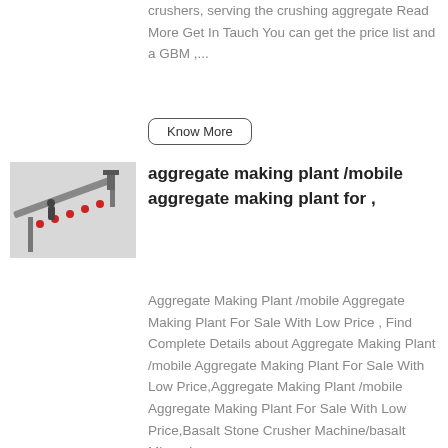crushers, serving the crushing aggregate Read More Get In Tauch You can get the price list and a GBM ,...
Know More
[Figure (photo): Photo of an industrial aggregate conveyor belt structure with a worker visible]
aggregate making plant /mobile aggregate making plant for ,
Aggregate Making Plant /mobile Aggregate Making Plant For Sale With Low Price , Find Complete Details about Aggregate Making Plant /mobile Aggregate Making Plant For Sale With Low Price,Aggregate Making Plant /mobile Aggregate Making Plant For Sale With Low Price,Basalt Stone Crusher Machine/basalt Mineral